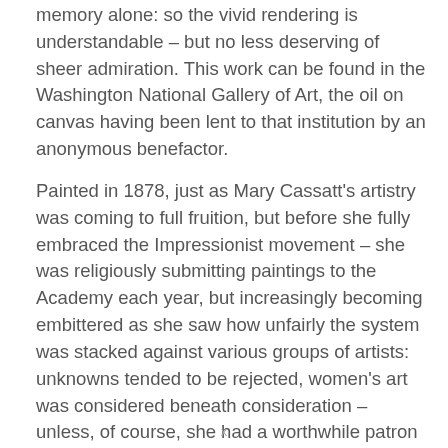memory alone: so the vivid rendering is understandable – but no less deserving of sheer admiration. This work can be found in the Washington National Gallery of Art, the oil on canvas having been lent to that institution by an anonymous benefactor.
Painted in 1878, just as Mary Cassatt's artistry was coming to full fruition, but before she fully embraced the Impressionist movement – she was religiously submitting paintings to the Academy each year, but increasingly becoming embittered as she saw how unfairly the system was stacked against various groups of artists: unknowns tended to be rejected, women's art was considered beneath consideration – unless, of course, she had a worthwhile patron or ally! – poorer painters, those from outside society, those who were not 'one of us': all had to struggle much harder for recognition by that august body, even if their art was vastly superior to those few fated
x